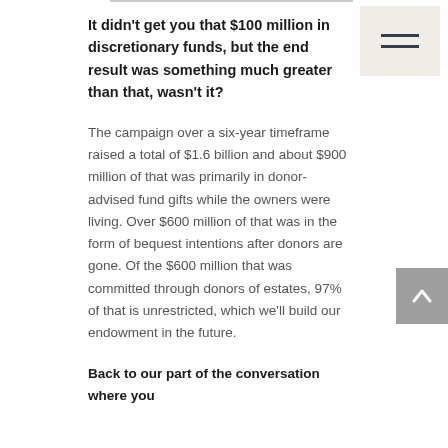It didn't get you that $100 million in discretionary funds, but the end result was something much greater than that, wasn't it?
The campaign over a six-year timeframe raised a total of $1.6 billion and about $900 million of that was primarily in donor-advised fund gifts while the owners were living. Over $600 million of that was in the form of bequest intentions after donors are gone. Of the $600 million that was committed through donors of estates, 97% of that is unrestricted, which we'll build our endowment in the future.
Back to our part of the conversation where you